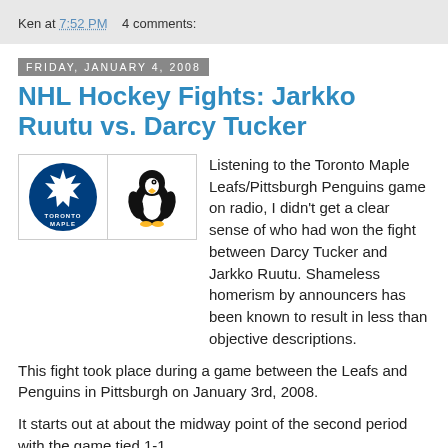Ken at 7:52 PM    4 comments:
Friday, January 4, 2008
NHL Hockey Fights: Jarkko Ruutu vs. Darcy Tucker
[Figure (illustration): Toronto Maple Leafs and Pittsburgh Penguins team logos side by side in a bordered box]
Listening to the Toronto Maple Leafs/Pittsburgh Penguins game on radio, I didn't get a clear sense of who had won the fight between Darcy Tucker and Jarkko Ruutu. Shameless homerism by announcers has been known to result in less than objective descriptions.
This fight took place during a game between the Leafs and Penguins in Pittsburgh on January 3rd, 2008.
It starts out at about the midway point of the second period with the game tied 1-1.
Ruutu lays a hit on Tucker in the Pittsburgh zone. Tucker